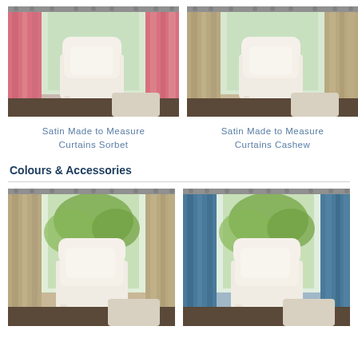[Figure (photo): Room scene with pink/sorbet satin curtains and white armchair]
Satin Made to Measure Curtains Sorbet
[Figure (photo): Room scene with cashew/beige satin curtains and white armchair]
Satin Made to Measure Curtains Cashew
Colours & Accessories
[Figure (photo): Room scene with beige/neutral curtains and white armchair]
[Figure (photo): Room scene with blue satin curtains and white armchair]